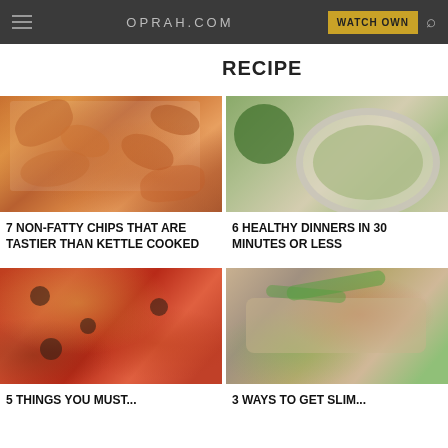OPRAH.COM | WATCH OWN
RECIPE
[Figure (photo): Sweet potato chips on parchment paper with seasoning]
7 NON-FATTY CHIPS THAT ARE TASTIER THAN KETTLE COOKED
[Figure (photo): Healthy grain and greens salad on a white plate]
6 HEALTHY DINNERS IN 30 MINUTES OR LESS
[Figure (photo): Pizza with cheese, pepperoni and olives]
5 THINGS YOU MUST...
[Figure (photo): Chicken dish topped with shredded cheese and green onions]
3 WAYS TO GET SLIM...